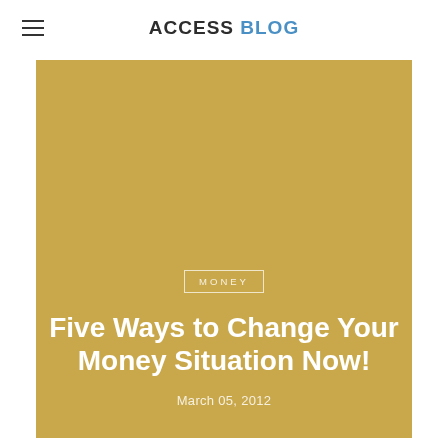ACCESS BLOG
[Figure (photo): Gold/tan colored hero image background for a blog post about money]
Five Ways to Change Your Money Situation Now!
March 05, 2012